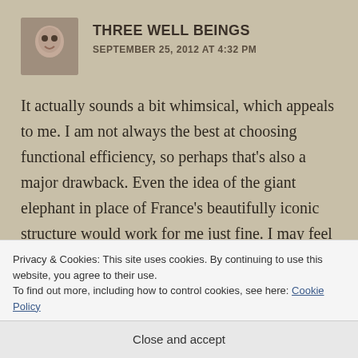THREE WELL BEINGS
SEPTEMBER 25, 2012 AT 4:32 PM
It actually sounds a bit whimsical, which appeals to me. I am not always the best at choosing functional efficiency, so perhaps that’s also a major drawback. Even the idea of the giant elephant in place of France’s beautifully iconic structure would work for me just fine. I may feel differently if it were in my own backyard, I do understand.
Privacy & Cookies: This site uses cookies. By continuing to use this website, you agree to their use.
To find out more, including how to control cookies, see here: Cookie Policy
Close and accept